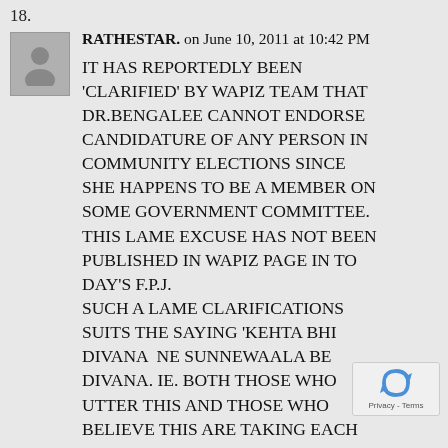18.
RATHESTAR. on June 10, 2011 at 10:42 PM
IT HAS REPORTEDLY BEEN 'CLARIFIED' BY WAPIZ TEAM THAT DR.BENGALEE CANNOT ENDORSE CANDIDATURE OF ANY PERSON IN COMMUNITY ELECTIONS SINCE SHE HAPPENS TO BE A MEMBER ON SOME GOVERNMENT COMMITTEE. THIS LAME EXCUSE HAS NOT BEEN PUBLISHED IN WAPIZ PAGE IN TO DAY'S F.P.J. SUCH A LAME CLARIFICATIONS SUITS THE SAYING 'KEHTA BHI DIVANA  NE SUNNEWAALA BE DIVANA. IE. BOTH THOSE WHO UTTER THIS AND THOSE WHO BELIEVE THIS ARE TAKING EACH...